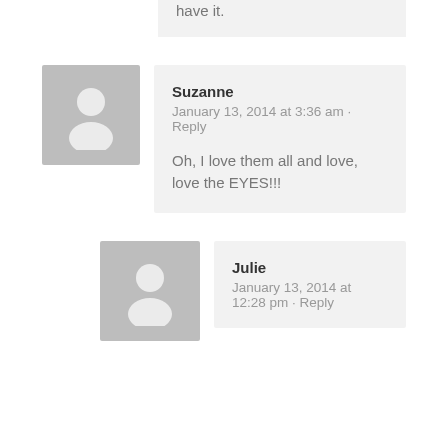have it.
Suzanne
January 13, 2014 at 3:36 am · Reply
Oh, I love them all and love, love the EYES!!!
Julie
January 13, 2014 at 12:28 pm · Reply